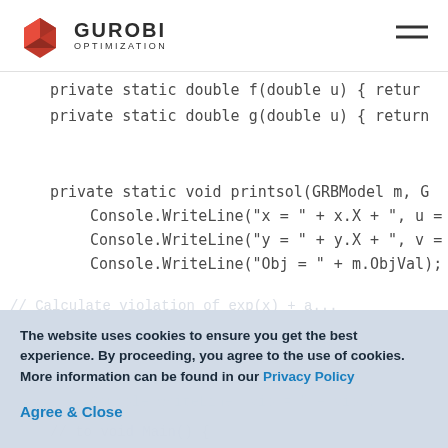Gurobi Optimization
private static double f(double u) { retur
    private static double g(double u) { return
private static void printsol(GRBModel m, G
    Console.WriteLine("x = " + x.X + ", u =
    Console.WriteLine("y = " + y.X + ", v =
    Console.WriteLine("Obj = " + m.ObjVal);
The website uses cookies to ensure you get the best experience. By proceeding, you agree to the use of cookies. More information can be found in our Privacy Policy
Agree & Close